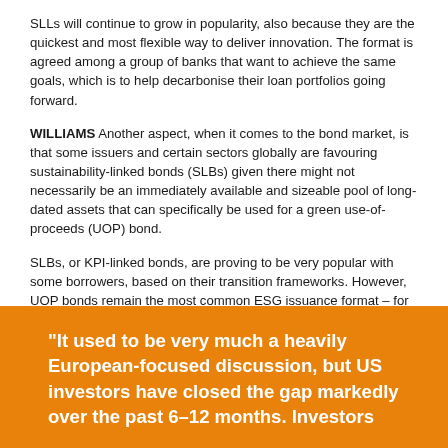SLLs will continue to grow in popularity, also because they are the quickest and most flexible way to deliver innovation. The format is agreed among a group of banks that want to achieve the same goals, which is to help decarbonise their loan portfolios going forward.
WILLIAMS Another aspect, when it comes to the bond market, is that some issuers and certain sectors globally are favouring sustainability-linked bonds (SLBs) given there might not necessarily be an immediately available and sizeable pool of long-dated assets that can specifically be used for a green use-of-proceeds (UOP) bond.
SLBs, or KPI-linked bonds, are proving to be very popular with some borrowers, based on their transition frameworks. However, UOP bonds remain the most common ESG issuance format – for instance 52 per cent of global ESG issuance in 2021 was done in UOP format.
"It used to be very much a heavily European-focused discussion, but US investors have closed the gap markedly over the past 6–12 months. Investors